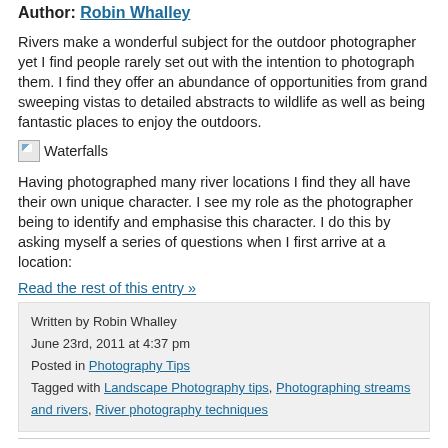Author: Robin Whalley
Rivers make a wonderful subject for the outdoor photographer yet I find people rarely set out with the intention to photograph them. I find they offer an abundance of opportunities from grand sweeping vistas to detailed abstracts to wildlife as well as being fantastic places to enjoy the outdoors.
[Figure (illustration): Broken image placeholder labeled 'Waterfalls']
Having photographed many river locations I find they all have their own unique character. I see my role as the photographer being to identify and emphasise this character. I do this by asking myself a series of questions when I first arrive at a location:
Read the rest of this entry »
Written by Robin Whalley
June 23rd, 2011 at 4:37 pm
Posted in Photography Tips
Tagged with Landscape Photography tips, Photographing streams and rivers, River photography techniques